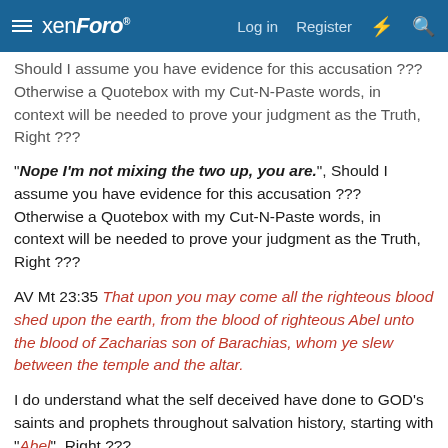xenForo — Log in | Register
Should I assume you have evidence for this accusation ??? Otherwise a Quotebox with my Cut-N-Paste words, in context will be needed to prove your judgment as the Truth, Right ???
"Nope I'm not mixing the two up, you are.", Should I assume you have evidence for this accusation ??? Otherwise a Quotebox with my Cut-N-Paste words, in context will be needed to prove your judgment as the Truth, Right ???
AV Mt 23:35 That upon you may come all the righteous blood shed upon the earth, from the blood of righteous Abel unto the blood of Zacharias son of Barachias, whom ye slew between the temple and the altar.
I do understand what the self deceived have done to GOD's saints and prophets throughout salvation history, starting with "Abel", Right ???
AV Gn 4:4 And Abel, he also brought the firstlings of his flock and of the fat thereof. And the LORD had respect unto Abel and